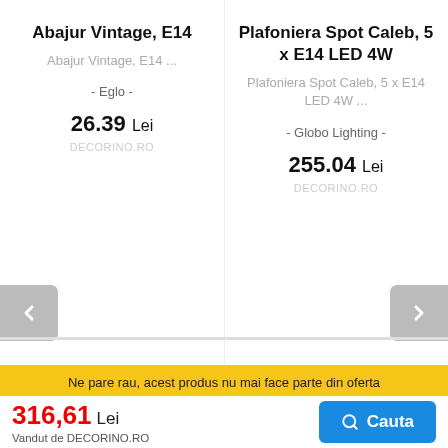Abajur Vintage, E14
Abajur Vintage, E14 ...
- Eglo -
26.39 Lei
DECORINO.RO
Plafoniera Spot Caleb, 5 x E14 LED 4W
Plafoniera Spot Caleb, 5 x E14 LED 4W ...
- Globo Lighting -
255.04 Lei
DECORINO.RO
Ne pare rau, acest produs nu mai face parte din oferta
316,61 Lei
Vandut de DECORINO.RO
Cauta